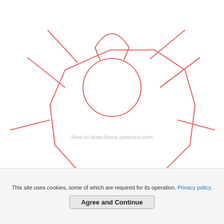[Figure (illustration): Partial view of a cartoon character drawing tutorial - step 2 guideline sketch showing spider-like figure with oval body, circular thorax, arms/legs extending outward, drawn in salmon/pink lines on white background]
How-to-draw-funny-cartoons.com
Step 2 - It's Time To Draw The Character!
Using the guideline sketched in the previous step, you can now draw the character as
This site uses cookies, some of which are required for its operation. Privacy policy.
Agree and Continue